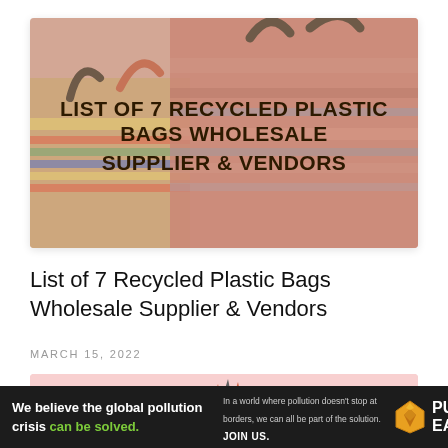[Figure (photo): Hero banner image showing colorful woven/recycled plastic bags with text overlay reading LIST OF 7 RECYCLED PLASTIC BAGS WHOLESALE SUPPLIER & VENDORS]
List of 7 Recycled Plastic Bags Wholesale Supplier & Vendors
MARCH 15, 2022
[Figure (photo): Partial photo on pink background showing hands holding pencils]
We believe the global pollution crisis can be solved. In a world where pollution doesn't stop at borders, we can all be part of the solution. JOIN US. PURE EARTH